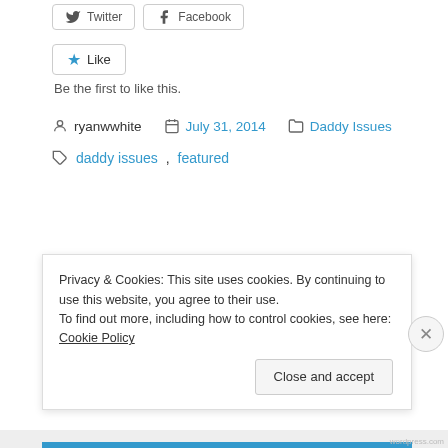[Figure (screenshot): Social share buttons: Twitter and Facebook]
[Figure (screenshot): Like button with blue star]
Be the first to like this.
ryanwwhite  July 31, 2014  Daddy Issues
daddy issues, featured
Privacy & Cookies: This site uses cookies. By continuing to use this website, you agree to their use.
To find out more, including how to control cookies, see here: Cookie Policy
Close and accept